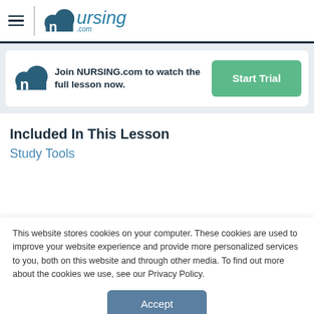nursing.com
Join NURSING.com to watch the full lesson now.
Start Trial
Included In This Lesson
Study Tools
This website stores cookies on your computer. These cookies are used to improve your website experience and provide more personalized services to you, both on this website and through other media. To find out more about the cookies we use, see our Privacy Policy.
Accept